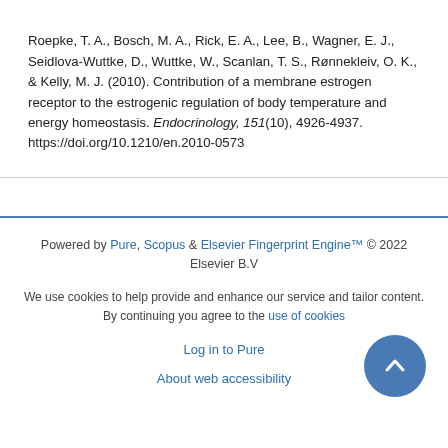Roepke, T. A., Bosch, M. A., Rick, E. A., Lee, B., Wagner, E. J., Seidlova-Wuttke, D., Wuttke, W., Scanlan, T. S., Rønnekleiv, O. K., & Kelly, M. J. (2010). Contribution of a membrane estrogen receptor to the estrogenic regulation of body temperature and energy homeostasis. Endocrinology, 151(10), 4926-4937. https://doi.org/10.1210/en.2010-0573
Powered by Pure, Scopus & Elsevier Fingerprint Engine™ © 2022 Elsevier B.V
We use cookies to help provide and enhance our service and tailor content. By continuing you agree to the use of cookies
Log in to Pure
About web accessibility